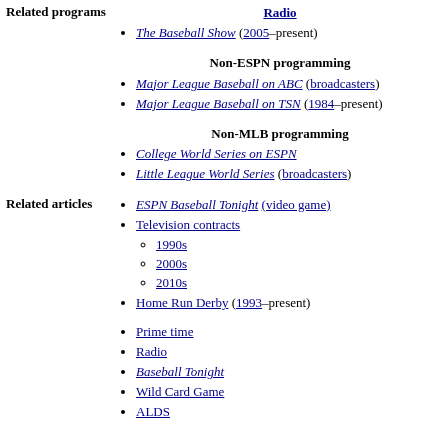Related programs
Radio
The Baseball Show (2005–present)
Non-ESPN programming
Major League Baseball on ABC (broadcasters)
Major League Baseball on TSN (1984–present)
Non-MLB programming
College World Series on ESPN
Little League World Series (broadcasters)
Related articles
ESPN Baseball Tonight (video game)
Television contracts
1990s
2000s
2010s
Home Run Derby (1993–present)
Prime time
Radio
Baseball Tonight
Wild Card Game
ALDS